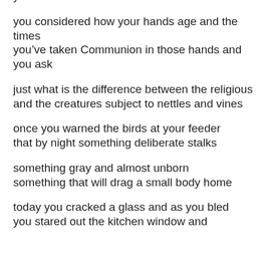you considered the business of hands and scars
you considered how your hands age and the times
you've taken Communion in those hands and you ask
just what is the difference between the religious and the creatures subject to nettles and vines
once you warned the birds at your feeder that by night something deliberate stalks
something gray and almost unborn something that will drag a small body home
today you cracked a glass and as you bled you stared out the kitchen window and